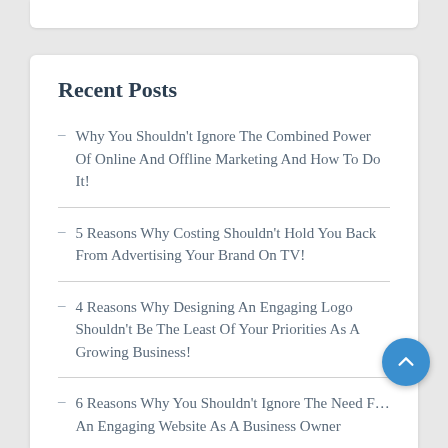Recent Posts
Why You Shouldn't Ignore The Combined Power Of Online And Offline Marketing And How To Do It!
5 Reasons Why Costing Shouldn't Hold You Back From Advertising Your Brand On TV!
4 Reasons Why Designing An Engaging Logo Shouldn't Be The Least Of Your Priorities As A Growing Business!
6 Reasons Why You Shouldn't Ignore The Need For An Engaging Website As A Business Owner
5 Reasons Why Your Business Should Have A Proper